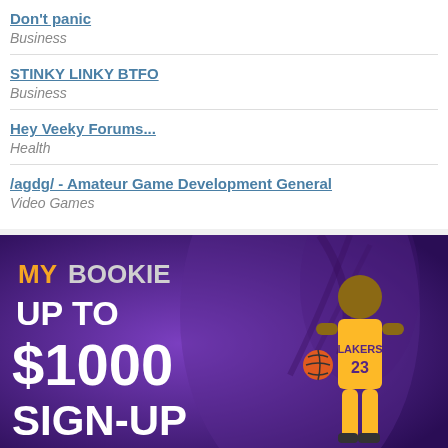Don't panic
Business
STINKY LINKY BTFO
Business
Hey Veeky Forums...
Health
/agdg/ - Amateur Game Development General
Video Games
[Figure (photo): MyBookie advertisement banner with Lakers player #23, promoting 'UP TO $1000 SIGN-UP' offer on a purple background]